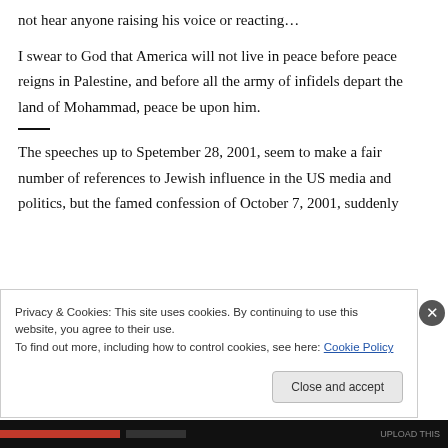not hear anyone raising his voice or reacting…
I swear to God that America will not live in peace before peace reigns in Palestine, and before all the army of infidels depart the land of Mohammad, peace be upon him.
——
The speeches up to Spetember 28, 2001, seem to make a fair number of references to Jewish influence in the US media and politics, but the famed confession of October 7, 2001, suddenly
Privacy & Cookies: This site uses cookies. By continuing to use this website, you agree to their use.
To find out more, including how to control cookies, see here: Cookie Policy